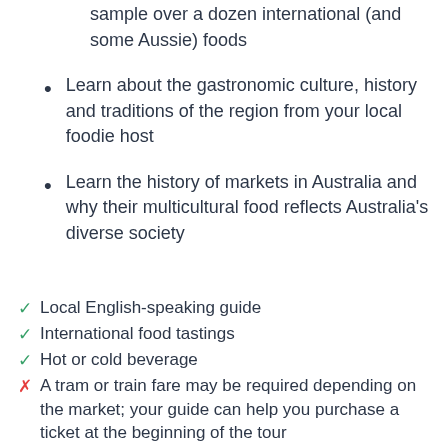sample over a dozen international (and some Aussie) foods
Learn about the gastronomic culture, history and traditions of the region from your local foodie host
Learn the history of markets in Australia and why their multicultural food reflects Australia's diverse society
✓ Local English-speaking guide
✓ International food tastings
✓ Hot or cold beverage
✗ A tram or train fare may be required depending on the market; your guide can help you purchase a ticket at the beginning of the tour
✗ Additional food and drinks